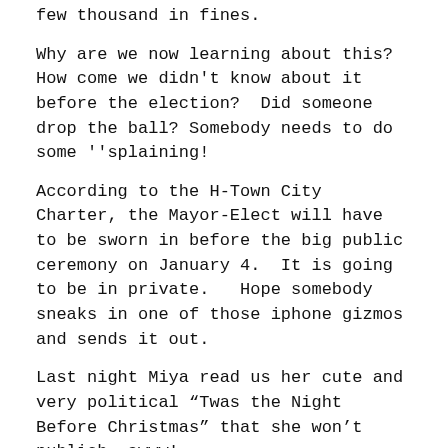few thousand in fines.
Why are we now learning about this?  How come we didn't know about it before the election?  Did someone drop the ball? Somebody needs to do some ''splaining!
According to the H-Town City Charter, the Mayor-Elect will have to be sworn in before the big public ceremony on January 4.  It is going to be in private.   Hope somebody sneaks in one of those iphone gizmos and sends it out.
Last night Miya read us her cute and very political “Twas the Night Before Christmas” that she won’t publish… awww!
Meanwhile, “not a creature was stirring not even a mouse” at The Yard.
Merry Christmas to all and to all a good weekend!